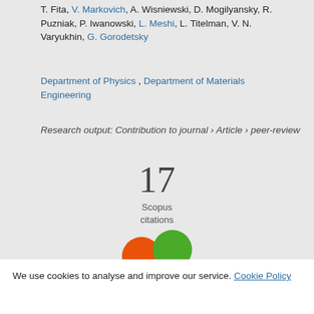T. Fita, V. Markovich, A. Wisniewski, D. Mogilyansky, R. Puzniak, P. Iwanowski, L. Meshi, L. Titelman, V. N. Varyukhin, G. Gorodetsky
Department of Physics , Department of Materials Engineering
Research output: Contribution to journal › Article › peer-review
17
Scopus
citations
[Figure (logo): Scopus logo with orange and green circles forming a flower/butterfly shape]
We use cookies to analyse and improve our service. Cookie Policy